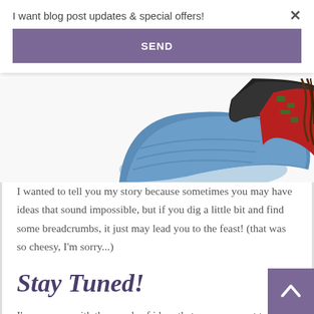I want blog post updates & special offers!
×
SEND
[Figure (photo): Partial view of folded clothes including blue denim jeans, a black item, and a red/green patterned item arranged on a white background]
I wanted to tell you my story because sometimes you may have ideas that sound impossible, but if you dig a little bit and find some breadcrumbs, it just may lead you to the feast! (that was so cheesy, I'm sorry...)
Stay Tuned!
I'm a person with thousands of ideas that never amount to anything because I simply don't have the